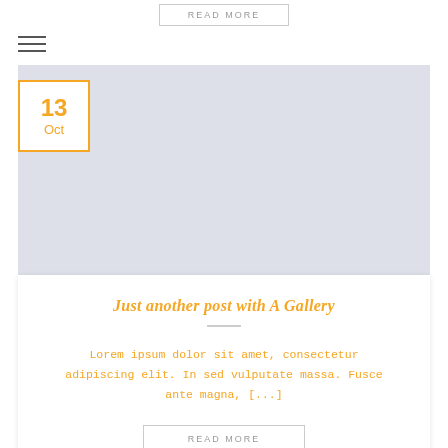READ MORE
[Figure (other): Hamburger/menu icon with three horizontal lines]
[Figure (other): Light blue-gray rectangular image placeholder area]
13 Oct
Just another post with A Gallery
Lorem ipsum dolor sit amet, consectetur adipiscing elit. In sed vulputate massa. Fusce ante magna, [...]
READ MORE